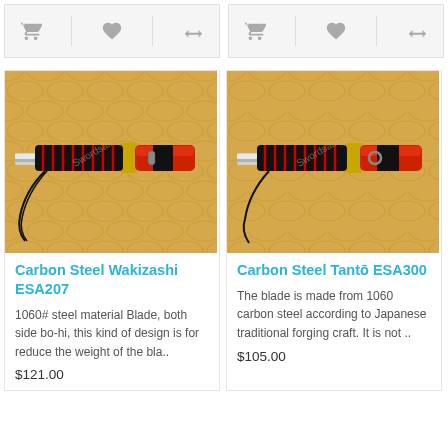[Figure (screenshot): Top icon bar left column with cart, heart, and compare icons]
[Figure (screenshot): Top icon bar right column with cart, heart, and compare icons]
[Figure (photo): Carbon Steel Wakizashi ESA207 sword with red scabbard and black handle wrapping on decorative gold fabric background]
Carbon Steel Wakizashi ESA207
1060# steel material Blade, both side bo-hi, this kind of design is for reduce the weight of the bla..
$121.00
[Figure (photo): Carbon Steel Tantō ESA300 sword with red scabbard and black handle wrapping on decorative gold fabric background]
Carbon Steel Tantō ESA300
The blade is made from 1060 carbon steel according to Japanese traditional forging craft. It is not ..
$105.00